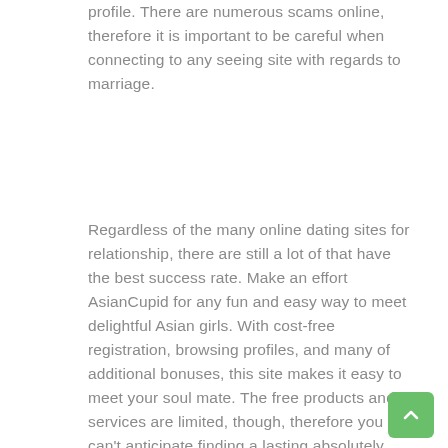profile. There are numerous scams online, therefore it is important to be careful when connecting to any seeing site with regards to marriage.
Regardless of the many online dating sites for relationship, there are still a lot of that have the best success rate. Make an effort AsianCupid for any fun and easy way to meet delightful Asian girls. With cost-free registration, browsing profiles, and many of additional bonuses, this site makes it easy to meet your soul mate. The free products and services are limited, though, therefore you can't anticipate finding a lasting absolutely adore unless you have the funds for premium health club. This website is free of charge for basic use, however it does offer high grade features to those with a bigger income.